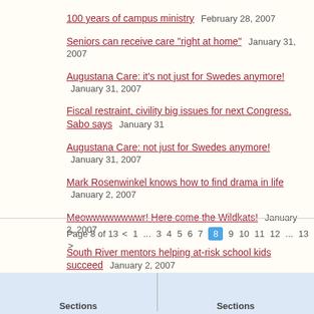100 years of campus ministry   February 28, 2007
Seniors can receive care "right at home"   January 31, 2007
Augustana Care: it's not just for Swedes anymore!   January 31, 2007
Fiscal restraint, civility big issues for next Congress, Sabo says   January 31
Augustana Care: not just for Swedes anymore!   January 31, 2007
Mark Rosenwinkel knows how to find drama in life   January 2, 2007
Meowwwwwwwwr! Here come the Wildkats!   January 2, 2007
South River mentors helping at-risk school kids succeed   January 2, 2007
Eagan churchman honored by LCMS extension fund   January 2, 2007
Three-congregation consolidation advances   January 2, 2007
Son of Salem's former pastor remembers more prosperous times for parish i
Concordia St.Paul now has a "Meyer Hall" named for a longtime instructor
Urban, suburban Lutherans build a bridge   November 30, 2006
Page 8 of 13  <  1  ...  3  4  5  6  7  8  9  10  11  12  ...  13  >
Sections   Sections